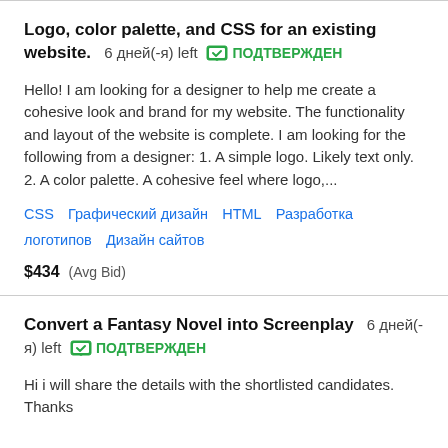Logo, color palette, and CSS for an existing website. 6 дней(-я) left ПОДТВЕРЖДЕН
Hello! I am looking for a designer to help me create a cohesive look and brand for my website. The functionality and layout of the website is complete. I am looking for the following from a designer: 1. A simple logo. Likely text only. 2. A color palette. A cohesive feel where logo,...
CSS   Графический дизайн   HTML   Разработка логотипов   Дизайн сайтов
$434  (Avg Bid)
Convert a Fantasy Novel into Screenplay  6 дней(-я) left  ПОДТВЕРЖДЕН
Hi i will share the details with the shortlisted candidates. Thanks